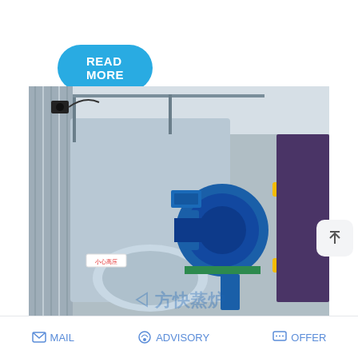READ MORE
[Figure (photo): Industrial boiler equipment in a factory setting — large silver/grey boiler unit with a blue burner/motor assembly mounted on the front, yellow piping visible on the right side, with Chinese watermark text reading 方快蒸炉]
Burnham Residential Boiler
pply.com | AF
Save Stickers on WhatsApp
MAIL   ADVISORY   OFFER